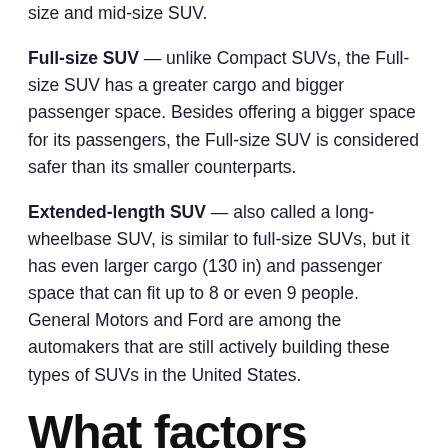size and mid-size SUV.
Full-size SUV — unlike Compact SUVs, the Full-size SUV has a greater cargo and bigger passenger space. Besides offering a bigger space for its passengers, the Full-size SUV is considered safer than its smaller counterparts.
Extended-length SUV — also called a long-wheelbase SUV, is similar to full-size SUVs, but it has even larger cargo (130 in) and passenger space that can fit up to 8 or even 9 people. General Motors and Ford are among the automakers that are still actively building these types of SUVs in the United States.
What factors affect